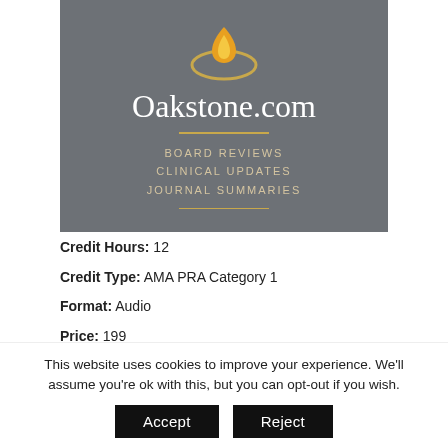[Figure (logo): Oakstone.com logo with flame icon on dark gray background, with text: BOARD REVIEWS, CLINICAL UPDATES, JOURNAL SUMMARIES]
Credit Hours: 12
Credit Type: AMA PRA Category 1
Format: Audio
Price: 199
Release Date: Jul 1, 2014 00:00 (partially visible)
This website uses cookies to improve your experience. We'll assume you're ok with this, but you can opt-out if you wish.
Accept
Reject